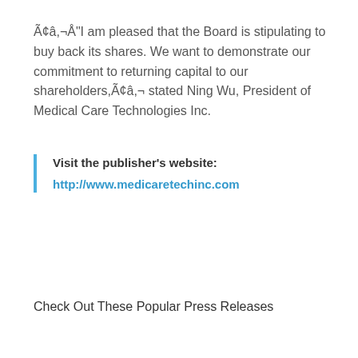Ã¢â,¬Å"I am pleased that the Board is stipulating to buy back its shares. We want to demonstrate our commitment to returning capital to our shareholders,Ã¢â,¬ stated Ning Wu, President of Medical Care Technologies Inc.
Visit the publisher's website: http://www.medicaretechinc.com
Check Out These Popular Press Releases